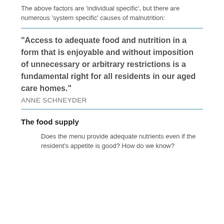The above factors are 'individual specific', but there are numerous 'system specific' causes of malnutrition:
“Access to adequate food and nutrition in a form that is enjoyable and without imposition of unnecessary or arbitrary restrictions is a fundamental right for all residents in our aged care homes.” ANNE SCHNEYDER
The food supply
Does the menu provide adequate nutrients even if the resident’s appetite is good? How do we know?